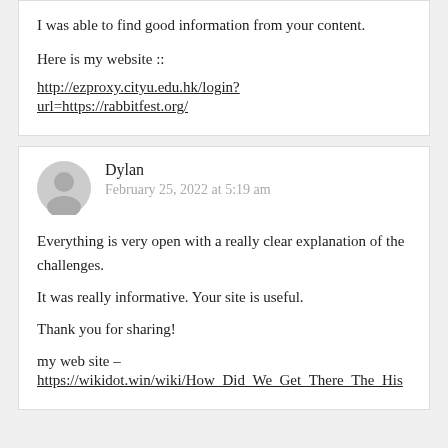I was able to find good information from your content.
Here is my website ::
http://ezproxy.cityu.edu.hk/login?
url=https://rabbitfest.org/
Dylan
February 25, 2022 at 5:19 am
Everything is very open with a really clear explanation of the challenges.
It was really informative. Your site is useful.
Thank you for sharing!
my web site –
https://wikidot.win/wiki/How_Did_We_Get_There_The_His